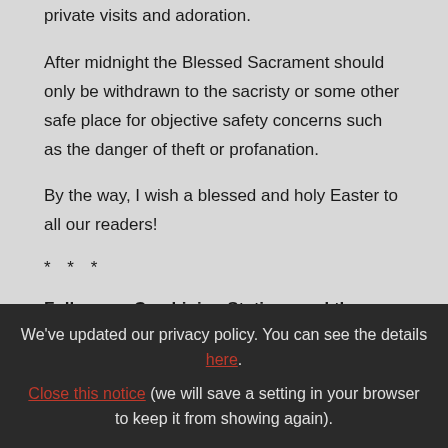private visits and adoration.
After midnight the Blessed Sacrament should only be withdrawn to the sacristy or some other safe place for objective safety concerns such as the danger of theft or profanation.
By the way, I wish a blessed and holy Easter to all our readers!
* * *
Follow up: Combining Stations and the
We've updated our privacy policy. You can see the details here. Close this notice (we will save a setting in your browser to keep it from showing again).